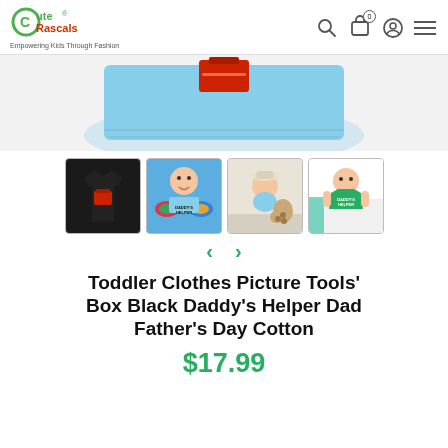Cute Rascals — Empowering Kids Through Fashion
[Figure (photo): Light blue toddler t-shirt folded flat showing a red toolbox graphic print, partially cropped at top]
[Figure (photo): Four product thumbnail images: (1) black t-shirt with toolbox graphic, (2) laughing toddler with painted hands wearing light blue Daddy's Helper shirt, (3) toddler sitting with stuffed bear paws, (4) boy in green Daddy's Helper t-shirt]
Toddler Clothes Picture Tools' Box Black Daddy's Helper Dad Father's Day Cotton
$17.99